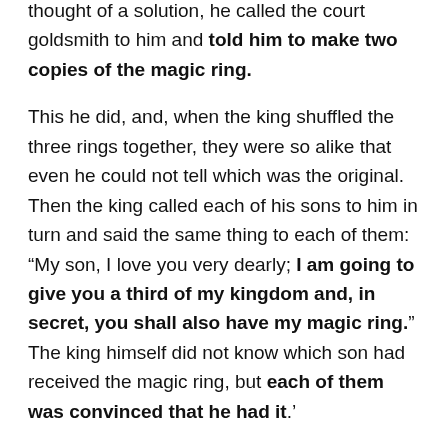thought of a solution, he called the court goldsmith to him and told him to make two copies of the magic ring.
This he did, and, when the king shuffled the three rings together, they were so alike that even he could not tell which was the original. Then the king called each of his sons to him in turn and said the same thing to each of them: “My son, I love you very dearly; I am going to give you a third of my kingdom and, in secret, you shall also have my magic ring.” The king himself did not know which son had received the magic ring, but each of them was convinced that he had it.’
Read the remainder of this story in tomorrow’s post…